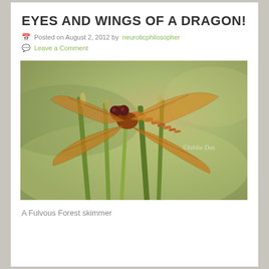EYES AND WINGS OF A DRAGON!
Posted on August 2, 2012 by neuroticphilosopher
Leave a Comment
[Figure (photo): Close-up macro photograph of a Fulvous Forest skimmer dragonfly perched on green grass stalks. The dragonfly has amber/orange translucent wings with dark veining, large dark red compound eyes, and an orange-brown striped abdomen. Background is blurred green and beige. Watermark reads '©Ishita Das'.]
A Fulvous Forest skimmer